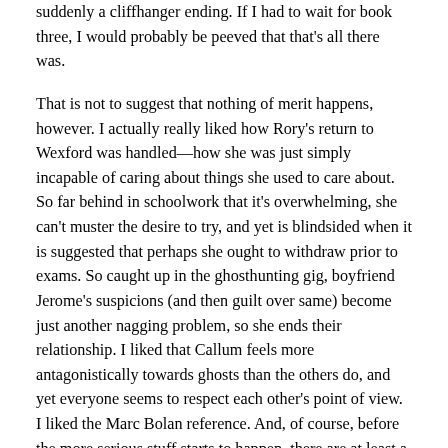suddenly a cliffhanger ending. If I had to wait for book three, I would probably be peeved that that's all there was.
That is not to suggest that nothing of merit happens, however. I actually really liked how Rory's return to Wexford was handled—how she was just simply incapable of caring about things she used to care about. So far behind in schoolwork that it's overwhelming, she can't muster the desire to try, and yet is blindsided when it is suggested that perhaps she ought to withdraw prior to exams. So caught up in the ghosthunting gig, boyfriend Jerome's suspicions (and then guilt over same) become just another nagging problem, so she ends their relationship. I liked that Callum feels more antagonistically towards ghosts than the others do, and yet everyone seems to respect each other's point of view. I liked the Marc Bolan reference. And, of course, before the more serious stuff starts to happen, there are at least a dozen lines of dialogue that made me laugh. (There's also a dream featuring ham lunchmeat that I think might be